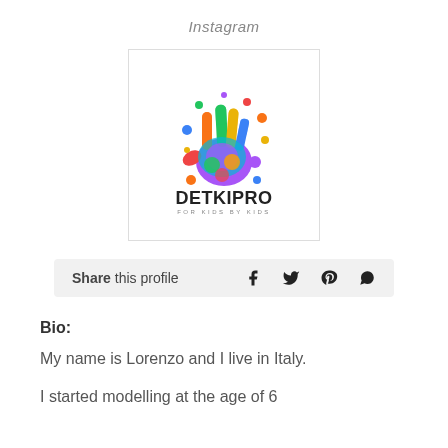Instagram
[Figure (logo): DETKIPRO logo — colorful handprint with rainbow-colored fingers and dots, text 'DETKIPRO FOR KIDS BY KIDS' below]
Share this profile
Bio:
My name is Lorenzo and I live in Italy.
I started modelling at the age of 6